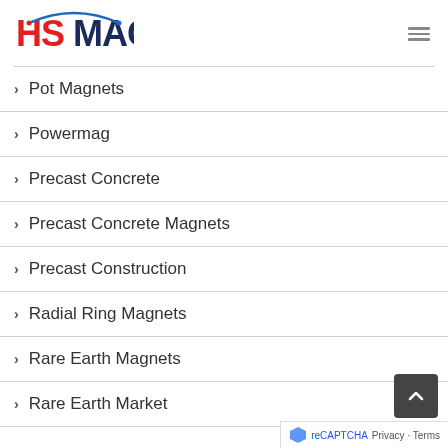HSMAG
Pot Magnets
Powermag
Precast Concrete
Precast Concrete Magnets
Precast Construction
Radial Ring Magnets
Rare Earth Magnets
Rare Earth Market
Privacy · Terms